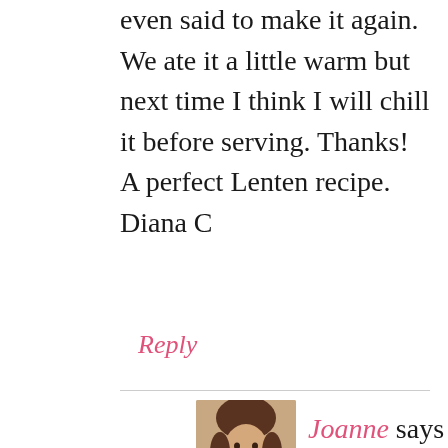even said to make it again. We ate it a little warm but next time I think I will chill it before serving. Thanks! A perfect Lenten recipe.
Diana C
Reply
Joanne says